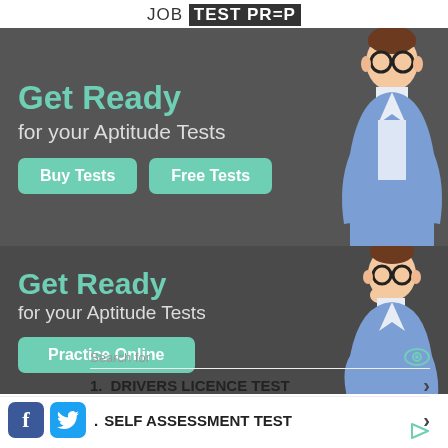[Figure (logo): JobTestPrep logo with JOB in plain text and TEST PREP in white on dark background box]
[Figure (illustration): Dark banner ad with 'Get Ready for your Aptitude Tests' text, Buy Tests and Free Tests teal buttons, and illustrated man in blue blazer with glasses on the right]
[Figure (illustration): Dark banner ad with 'Get Ready for your Aptitude Tests' text, Practice Online teal button, and illustrated man in blue blazer with glasses on the right]
Search for
1. DRIVERS LICENCE TEST
2. SELF ASSESSMENT TEST